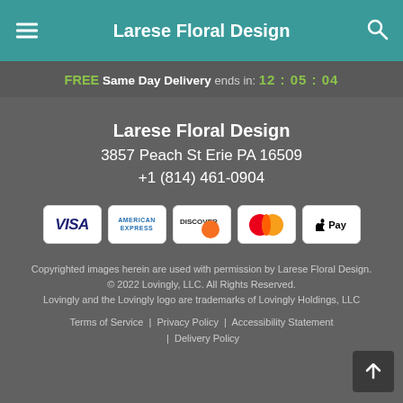Larese Floral Design
FREE Same Day Delivery ends in: 12 : 05 : 04
Larese Floral Design
3857 Peach St Erie PA 16509
+1 (814) 461-0904
[Figure (logo): Payment method logos: Visa, American Express, Discover, Mastercard, Apple Pay]
Copyrighted images herein are used with permission by Larese Floral Design.
© 2022 Lovingly, LLC. All Rights Reserved.
Lovingly and the Lovingly logo are trademarks of Lovingly Holdings, LLC
Terms of Service | Privacy Policy | Accessibility Statement | Delivery Policy